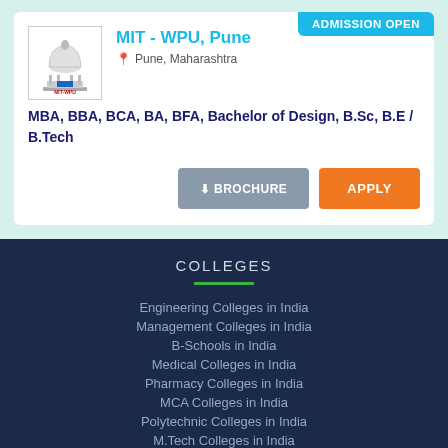[Figure (logo): MIT-WPU logo with dome building illustration and MIT-WPU text]
MIT - WPU, Pune
Pune, Maharashtra
MBA, BBA, BCA, BA, BFA, Bachelor of Design, B.Sc, B.E / B.Tech
COLLEGES
Engineering Colleges in India
Management Colleges in India
B-Schools in India
Medical Colleges in India
Pharmacy Colleges in India
MCA Colleges in India
Polytechnic Colleges in India
M.Tech Colleges in India